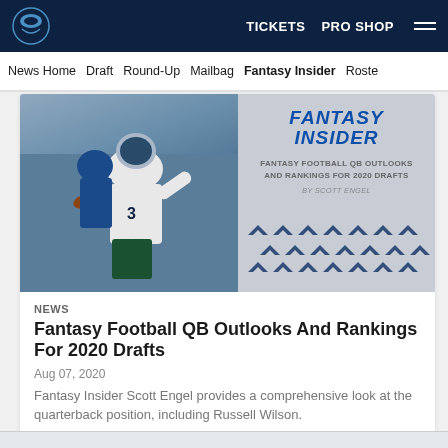TICKETS  PRO SHOP  ☰
News Home  Draft  Round-Up  Mailbag  Fantasy Insider  Roster
[Figure (photo): Seahawks Fantasy Insider article image showing a quarterback in action and a decorative graphic with text: FANTASY INSIDER, FANTASY FOOTBALL QB OUTLOOKS AND RANKINGS FOR 2020 DRAFTS, BY SCOTT ENGEL]
NEWS
Fantasy Football QB Outlooks And Rankings For 2020 Drafts
Aug 07, 2020
Fantasy Insider Scott Engel provides a comprehensive look at the quarterback position, including Russell Wilson.